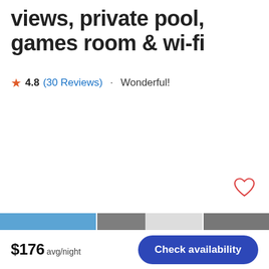views, private pool, games room & wi-fi
★ 4.8 (30 Reviews) · Wonderful!
[Figure (illustration): Heart/favorite icon outline in red-orange]
[Figure (photo): Partial image strip showing property photos at bottom of listing card]
$176 avg/night
Check availability